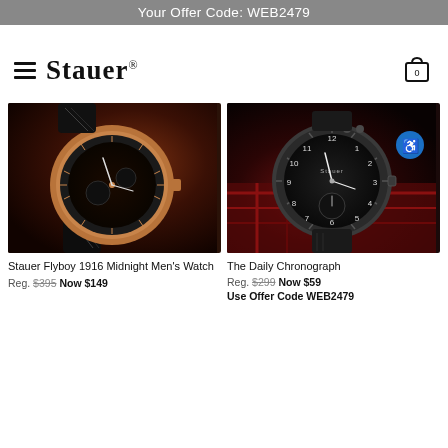Your Offer Code: WEB2479
Stauer®
[Figure (photo): Close-up photo of the Stauer Flyboy 1916 Midnight Men's Watch with rose gold case and black leather strap on a dark background.]
Stauer Flyboy 1916 Midnight Men's Watch
Reg. $395 Now $149
[Figure (photo): Photo of The Daily Chronograph watch with dark case, black dial, and black leather strap on a red and dark background with a blue accessibility icon overlay.]
The Daily Chronograph
Reg. $299 Now $59
Use Offer Code WEB2479